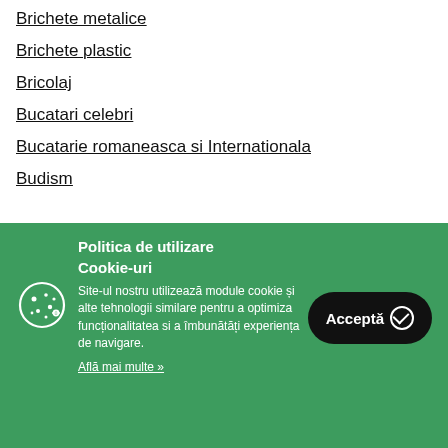Brichete metalice
Brichete plastic
Bricolaj
Bucatari celebri
Bucatarie romaneasca si Internationala
Budism
Politica de utilizare Cookie-uri
Site-ul nostru utilizează module cookie și alte tehnologii similare pentru a optimiza funcționalitatea si a îmbunătăți experiența de navigare.
Află mai multe »